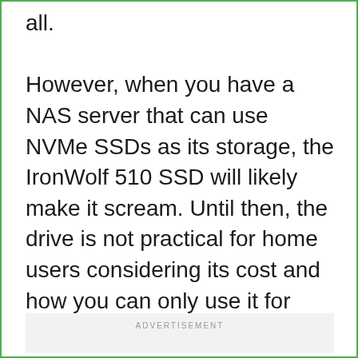all.

However, when you have a NAS server that can use NVMe SSDs as its storage, the IronWolf 510 SSD will likely make it scream. Until then, the drive is not practical for home users considering its cost and how you can only use it for caching.
ADVERTISEMENT